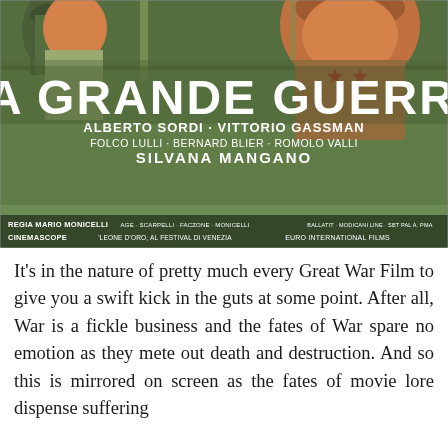[Figure (illustration): Movie poster for 'La Grande Guerra' (The Great War), directed by Mario Monicelli. Green/olive background with illustrated soldiers. Title in large white bold letters. Cast: Alberto Sordi, Vittorio Gassman, Folco Lulli, Bernard Blier, Romolo Valli, Silvana Mangano. Credits: Regia Mario Monicelli, Cinemascope, Leone D'Oro al Festival di Venezia, Euro International Films.]
It's in the nature of pretty much every Great War Film to give you a swift kick in the guts at some point. After all, War is a fickle business and the fates of War spare no emotion as they mete out death and destruction. And so this is mirrored on screen as the fates of movie lore dispense suffering